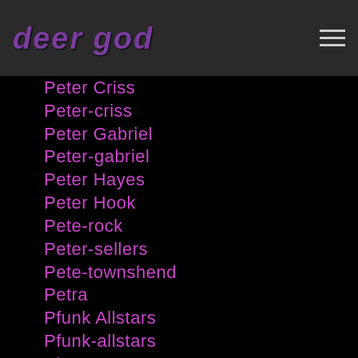deer god
Peter Criss
Peter-criss
Peter Gabriel
Peter-gabriel
Peter Hayes
Peter Hook
Pete-rock
Peter-sellers
Pete-townshend
Petra
Pfunk Allstars
Pfunk-allstars
Phantogram
Pharcyde
Pharrell
Phife Dawg
Phife-dawg